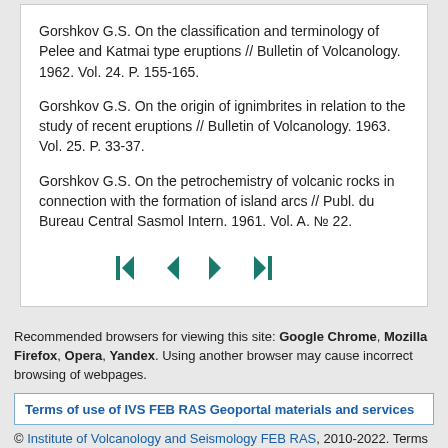Gorshkov G.S. On the classification and terminology of Pelee and Katmai type eruptions // Bulletin of Volcanology. 1962. Vol. 24. P. 155-165.
Gorshkov G.S. On the origin of ignimbrites in relation to the study of recent eruptions // Bulletin of Volcanology. 1963. Vol. 25. P. 33-37.
Gorshkov G.S. On the petrochemistry of volcanic rocks in connection with the formation of island arcs // Publ. du Bureau Central Sasmol Intern. 1961. Vol. A. № 22.
[Figure (other): Navigation buttons: skip to first, previous, next, skip to last]
Recommended browsers for viewing this site: Google Chrome, Mozilla Firefox, Opera, Yandex. Using another browser may cause incorrect browsing of webpages.
Terms of use of IVS FEB RAS Geoportal materials and services
© Institute of Volcanology and Seismology FEB RAS, 2010-2022. Terms